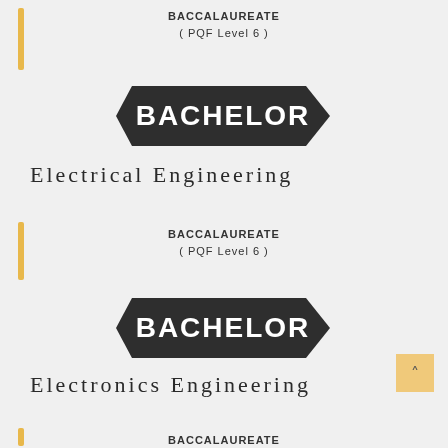BACCALAUREATE
( PQF Level 6 )
[Figure (illustration): Dark hexagonal badge shape with white bold text reading BACHELOR]
Electrical Engineering
BACCALAUREATE
( PQF Level 6 )
[Figure (illustration): Dark hexagonal badge shape with white bold text reading BACHELOR]
Electronics Engineering
BACCALAUREATE
( PQF Level 6 )